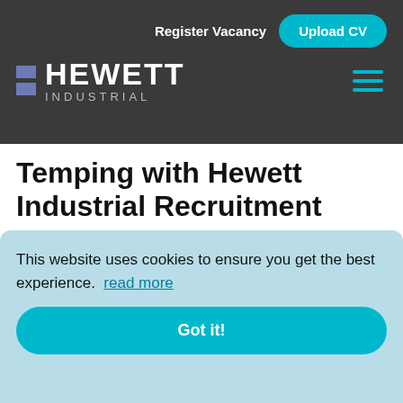Register Vacancy  Upload CV
[Figure (logo): Hewett Industrial logo with two blue-purple squares and white text HEWETT INDUSTRIAL, with hamburger menu icon]
Temping with Hewett Industrial Recruitment
Temping with Hewett Recruitment can be an ideal route to securing a permanent position. It will provide you with an income, add to your range of
This website uses cookies to ensure you get the best experience.  read more
Got it!
beyond